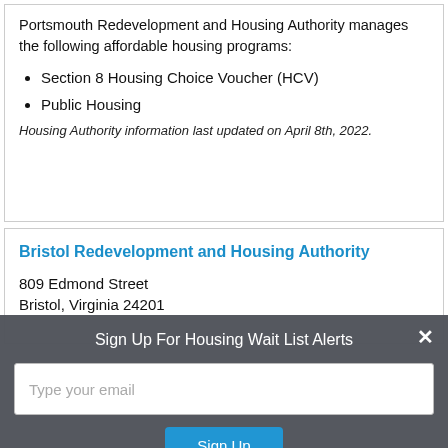Portsmouth Redevelopment and Housing Authority manages the following affordable housing programs:
Section 8 Housing Choice Voucher (HCV)
Public Housing
Housing Authority information last updated on April 8th, 2022.
Bristol Redevelopment and Housing Authority
809 Edmond Street
Bristol, Virginia 24201
Sign Up For Housing Wait List Alerts
Type your email
Sign Up